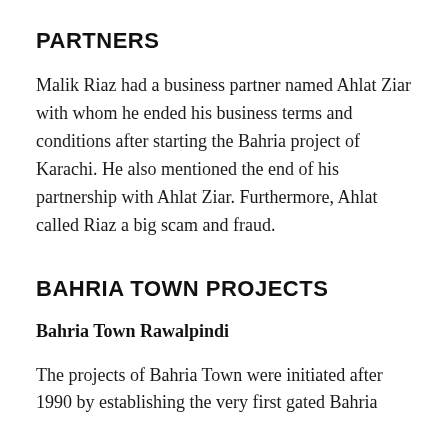PARTNERS
Malik Riaz had a business partner named Ahlat Ziar with whom he ended his business terms and conditions after starting the Bahria project of Karachi. He also mentioned the end of his partnership with Ahlat Ziar. Furthermore, Ahlat called Riaz a big scam and fraud.
BAHRIA TOWN PROJECTS
Bahria Town Rawalpindi
The projects of Bahria Town were initiated after 1990 by establishing the very first gated Bahria